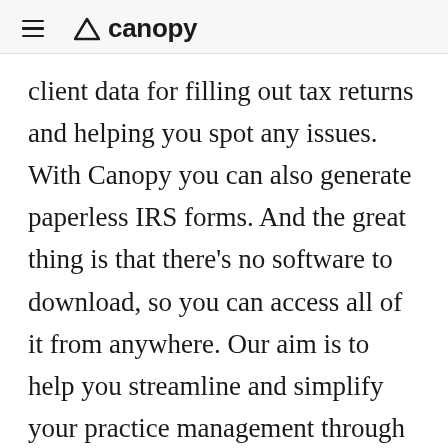≡  △ canopy
client data for filling out tax returns and helping you spot any issues. With Canopy you can also generate paperless IRS forms. And the great thing is that there's no software to download, so you can access all of it from anywhere. Our aim is to help you streamline and simplify your practice management through better communication and collaboration, so you